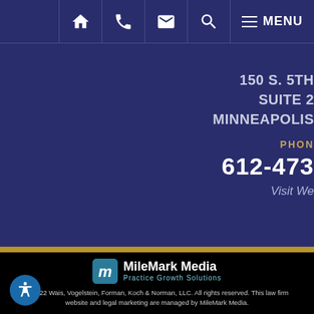Navigation bar with home, phone, email, search, and MENU icons
150 S. 5TH
SUITE 2
MINNEAPOLIS
PHONE
612-473
Visit We
[Figure (logo): MileMark Media Practice Growth Solutions logo]
© 2022 Wais, Vogelstein, Forman, Koch & Norman, LLC. All rights reserved. This law firm website and legal marketing are managed by MileMark Media.